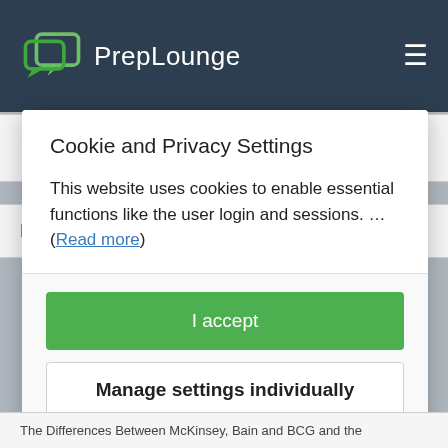PrepLounge
☛ Ace the McKinsey Interview with Confidence
McKinsey Problem Solving Game
Cookie and Privacy Settings
This website uses cookies to enable essential functions like the user login and sessions. ... (Read more)
I accept
Manage settings individually
The Differences Between McKinsey, Bain and BCG and the